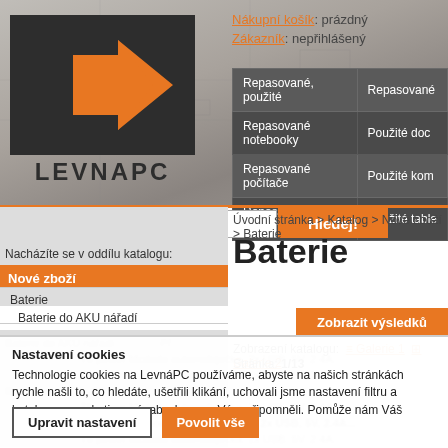[Figure (logo): LevnaPC logo with orange arrow and dark background, text LEVNAPC below]
Nákupní košík: prázdný
Zákazník: nepřihlášený
| Repasované, použité | Repasované |
| --- | --- |
| Repasované notebooky | Použité doc |
| Repasované počítače | Použité kom |
| Repasované PC sestavy | Použité table |
Úvodní stránka > Katalog > Nové zboží > Baterie
Baterie
Nacházíte se v oddílu katalogu:
Nové zboží
Baterie
Baterie do AKU nářadí
Zobrazit výsledků
Zobrazení katalogu: Galerie 1  Galerie 2
Stránka: 1/13
Nastavení cookies
Technologie cookies na LevnáPC používáme, abyste na našich stránkách rychle našli to, co hledáte, ušetřili klikání, uchovali jsme nastavení filtru a katalogu a marketingové, abychom se Vám připomněli. Pomůže nám Váš souhlas.
Upravit nastavení
Povolit vše